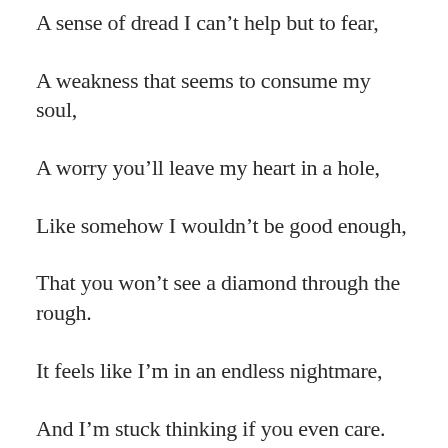A sense of dread I can’t help but to fear,
A weakness that seems to consume my soul,
A worry you’ll leave my heart in a hole,
Like somehow I wouldn’t be good enough,
That you won’t see a diamond through the rough.
It feels like I’m in an endless nightmare,
And I’m stuck thinking if you even care.